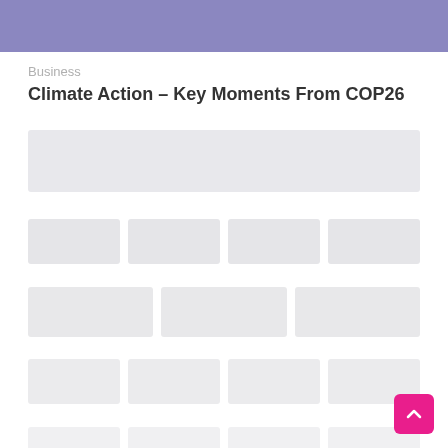[Figure (illustration): Purple/lavender decorative header bar at the top of the page]
Business
Climate Action – Key Moments From COP26
[Figure (screenshot): Faded/blurred placeholder grid of related article thumbnails with light gray image placeholders and very faint text labels]
[Figure (illustration): Pink back-to-top button with upward chevron arrow in bottom right corner]